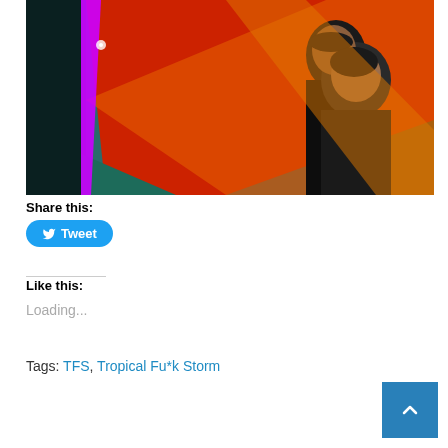[Figure (photo): Album or band cover art showing two women against a colorful abstract background with red, green, teal, and orange colors with a diagonal purple/magenta stripe]
Share this:
[Figure (other): Twitter Tweet button — blue rounded rectangle with bird icon and 'Tweet' text]
Like this:
Loading...
Tags: TFS, Tropical Fu*k Storm